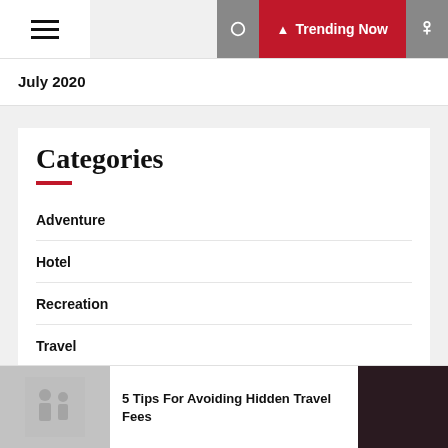Trending Now
July 2020
Categories
Adventure
Hotel
Recreation
Travel
5 Tips For Avoiding Hidden Travel Fees